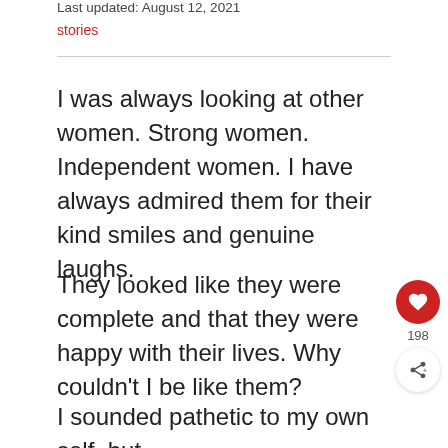Last updated: August 12, 2021
stories
I was always looking at other women. Strong women. Independent women. I have always admired them for their kind smiles and genuine laughs.
They looked like they were complete and that they were happy with their lives. Why couldn't I be like them?
I sounded pathetic to my own self, but